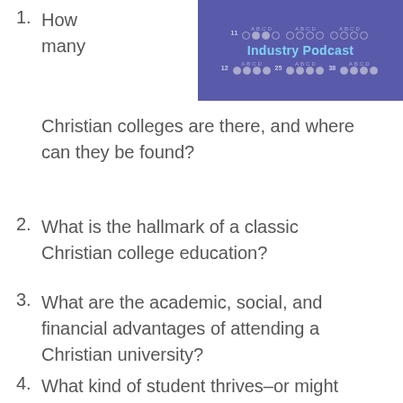[Figure (other): Banner with purple background showing 'Industry Podcast' text in cyan/light blue, with rows of letter labels (A B C D) and circular dots arranged in a grid pattern, with row numbers (11, 12, 25, 38)]
1. How many Christian colleges are there, and where can they be found?
2. What is the hallmark of a classic Christian college education?
3. What are the academic, social, and financial advantages of attending a Christian university?
4. What kind of student thrives–or might not–at a Christian college?
5. Should students who aren't Christian have concerns about attending a Christian college?